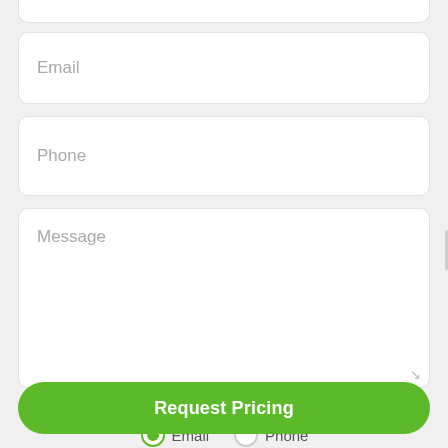[Figure (screenshot): Web form with Email input field (placeholder text: Email)]
[Figure (screenshot): Web form with Phone input field (placeholder text: Phone)]
[Figure (screenshot): Web form with Message textarea (placeholder text: Message)]
Preferred contact method
Email  Phone
[Figure (screenshot): Request Pricing button (green, rounded)]